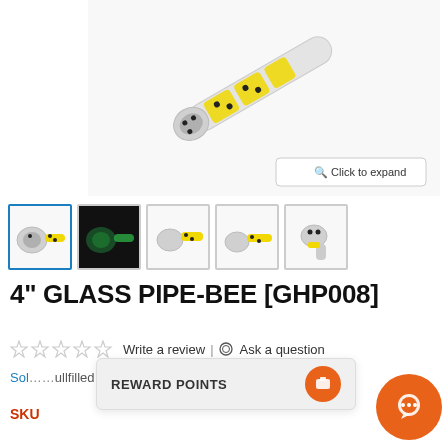[Figure (photo): Main product photo of a 4-inch glass pipe with yellow and black bee design on white background]
[Figure (photo): Row of 5 product thumbnail images: bee pipe lit/yellow, glowing dark, white background views of the same pipe]
4" GLASS PIPE-BEE [GHP008]
☆☆☆☆☆ Write a review | 💬 Ask a question
Sold ... fulfilled by Bongou...
SKU
REWARD POINTS